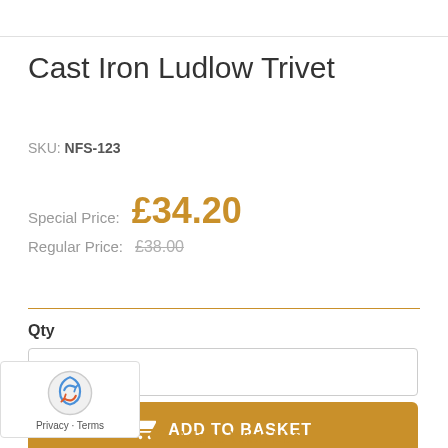Cast Iron Ludlow Trivet
SKU: NFS-123
Special Price: £34.20
Regular Price: £38.00
Qty
1
ADD TO BASKET
Privacy · Terms
Add to Wish List